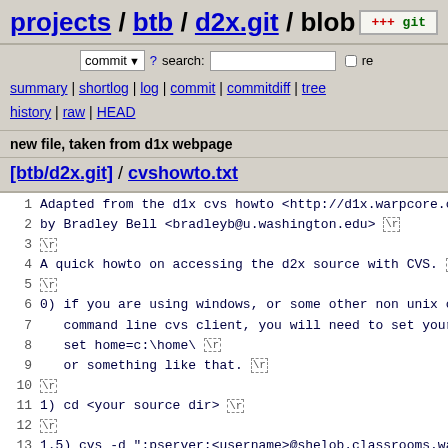projects / btb / d2x.git / blob
commit ? search: re
summary | shortlog | log | commit | commitdiff | tree
history | raw | HEAD
new file, taken from d1x webpage
[btb/d2x.git] / cvshowto.txt
1  Adapted from the d1x cvs howto <http://d1x.warpcore.org
2  by Bradley Bell <bradleyb@u.washington.edu> \r
3  \r
4  A quick howto on accessing the d2x source with CVS. \r
5  \r
6  0) if you are using windows, or some other non unix os,
7     command line cvs client, you will need to set your ho
8     set home=c:\home\ \r
9     or something like that. \r
10  \r
11  1) cd <your source dir> \r
12  \r
13  1.5) cvs -d ":pserver:<username>@shelob.classrooms.wash
14     Unless you already know your username, you want "anon
15     prompted for the password just hit return (no passwor
16  \r
17  2) cvs -d ":pserver:<username>@shelob.classrooms.washir
18     This will retrieve the source into <current dir>/d2x
19     (you may wish to look into the -z flag, ex "-z3" to